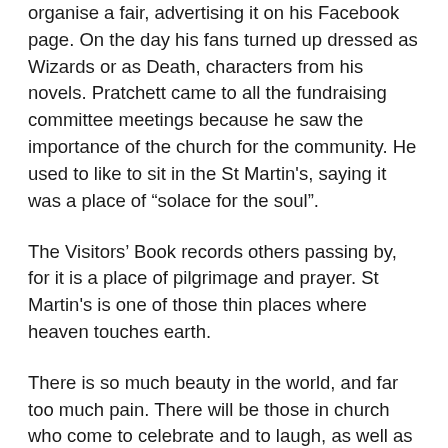organise a fair, advertising it on his Facebook page. On the day his fans turned up dressed as Wizards or as Death, characters from his novels. Pratchett came to all the fundraising committee meetings because he saw the importance of the church for the community. He used to like to sit in the St Martin's, saying it was a place of “solace for the soul”.
The Visitors’ Book records others passing by, for it is a place of pilgrimage and prayer. St Martin's is one of those thin places where heaven touches earth.
There is so much beauty in the world, and far too much pain. There will be those in church who come to celebrate and to laugh, as well as those who are finding life tough. This year I shall be thinking of our friend who had a fall in March and was left partially